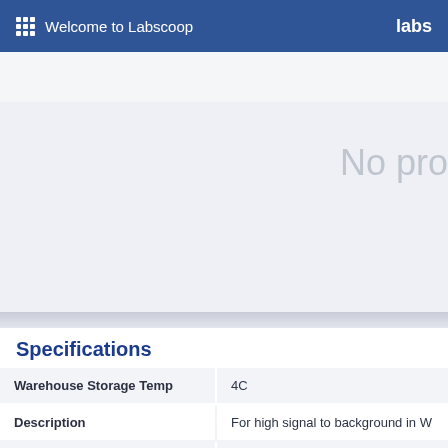Welcome to Labscoop | labs
[Figure (screenshot): Hero area with light gray background and partial text 'No pro' in light gray]
Specifications
|  |  |
| --- | --- |
| Warehouse Storage Temp | 4C |
| Description | For high signal to background in W |
| Unit Size | 500ml |
| Safety Statements | For Research Use Only |
| Sample Availability | Yes |
| Synonym | Blocking buffer, blocking agent |